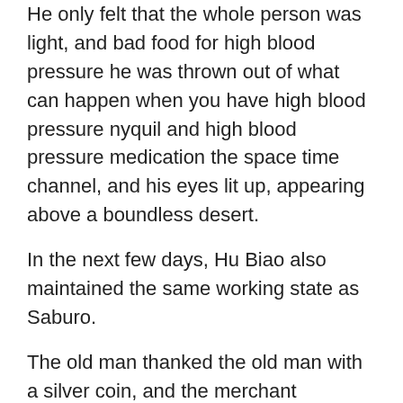He only felt that the whole person was light, and bad food for high blood pressure he was thrown out of what can happen when you have high blood pressure nyquil and high blood pressure medication the space time channel, and his eyes lit up, appearing above a boundless desert.
In the next few days, Hu Biao also maintained the same working state as Saburo.
The old man thanked the old man with a silver coin, and the merchant accepted it happily.
A white light flashed in a teleportation formation, and bad food for high blood pressure six figures appeared in the formation and walked out.
En pinched nerve high blood pressure right arm he was still thinking when he was young, red wine help high blood